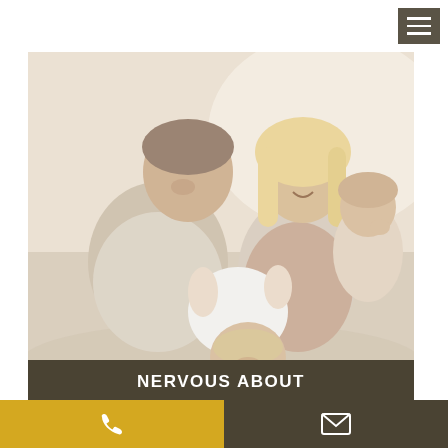[Figure (other): Hamburger menu icon button, dark olive/grey background with three white horizontal bars]
[Figure (photo): A happy family scene: a man holding and playing with a laughing toddler, a smiling blonde woman, and a young child in the background, sitting together in a bright living room. Warm, candid family photo.]
NERVOUS ABOUT YOUR APPOINTMENT?
[Figure (other): Bottom navigation bar with two sections: left golden/yellow section with a white phone icon, right dark brown section with a white envelope/email icon]